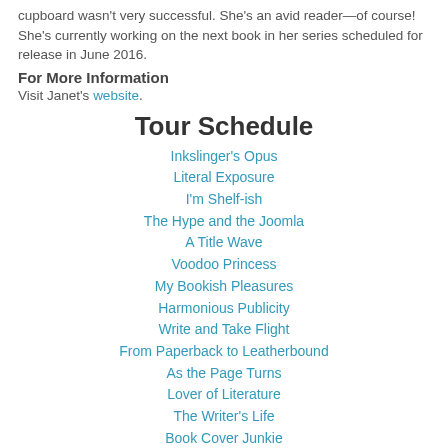cupboard wasn't very successful. She's an avid reader—of course!   She's currently working on the next book in her series scheduled for release in June 2016.
For More Information
Visit Janet's website.
Tour Schedule
Inkslinger's Opus
Literal Exposure
I'm Shelf-ish
The Hype and the Joomla
A Title Wave
Voodoo Princess
My Bookish Pleasures
Harmonious Publicity
Write and Take Flight
From Paperback to Leatherbound
As the Page Turns
Lover of Literature
The Writer's Life
Book Cover Junkie